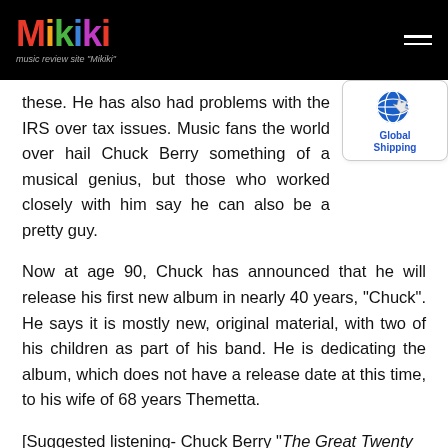Mikiki - music review site
[Figure (logo): Global Shipping badge with globe icon]
these. He has also had problems with the IRS over tax issues. Music fans the world over hail Chuck Berry something of a musical genius, but those who worked closely with him say he can also be a pretty guy.
Now at age 90, Chuck has announced that he will release his first new album in nearly 40 years, “Chuck”. He says it is mostly new, original material, with two of his children as part of his band. He is dedicating the album, which does not have a release date at this time, to his wife of 68 years Themetta.
[Suggested listening- Chuck Berry “The Great Twenty Eighth” (90)]